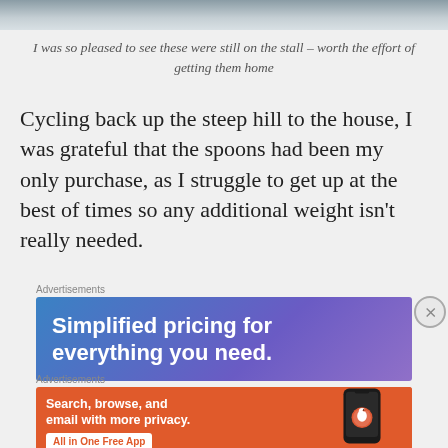[Figure (photo): Cropped top portion of a photograph, showing a grayish outdoor scene (likely a market stall).]
I was so pleased to see these were still on the stall – worth the effort of getting them home
Cycling back up the steep hill to the house, I was grateful that the spoons had been my only purchase, as I struggle to get up at the best of times so any additional weight isn't really needed.
[Figure (screenshot): Advertisement banner: 'Simplified pricing for everything you need.' on a blue-purple gradient background.]
[Figure (screenshot): Advertisement banner for DuckDuckGo: 'Search, browse, and email with more privacy. All in One Free App' on an orange background with phone graphic.]